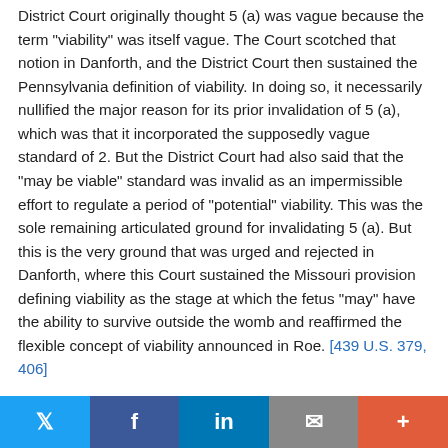District Court originally thought 5 (a) was vague because the term "viability" was itself vague. The Court scotched that notion in Danforth, and the District Court then sustained the Pennsylvania definition of viability. In doing so, it necessarily nullified the major reason for its prior invalidation of 5 (a), which was that it incorporated the supposedly vague standard of 2. But the District Court had also said that the "may be viable" standard was invalid as an impermissible effort to regulate a period of "potential" viability. This was the sole remaining articulated ground for invalidating 5 (a). But this is the very ground that was urged and rejected in Danforth, where this Court sustained the Missouri provision defining viability as the stage at which the fetus "may" have the ability to survive outside the womb and reaffirmed the flexible concept of viability announced in Roe. [439 U.S. 379, 406]
Twitter | Facebook | LinkedIn | Email | More